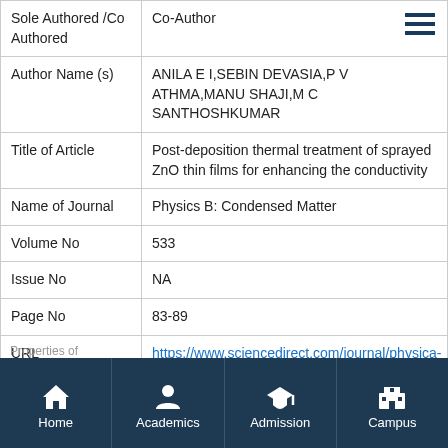| Field | Value |
| --- | --- |
| Sole Authored /Co Authored | Co-Author |
| Author Name (s) | ANILA E I,SEBIN DEVASIA,P V ATHMA,MANU SHAJI,M C SANTHOSHKUMAR |
| Title of Article | Post-deposition thermal treatment of sprayed ZnO thin films for enhancing the conductivity |
| Name of Journal | Physics B: Condensed Matter |
| Volume No | 533 |
| Issue No | NA |
| Page No | 83-89 |
| URL | https://www.sciencedirect.com/journal/physica-b-condensed-matter |
| Date of Publication | 04-Jan-2018 |